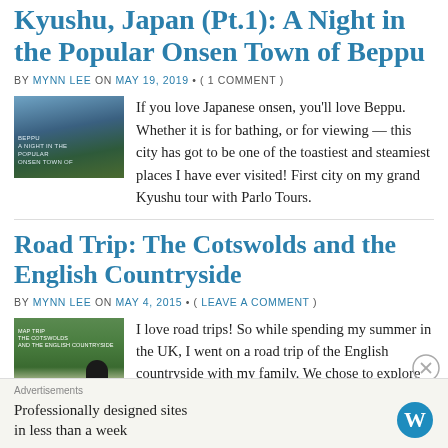Kyushu, Japan (Pt.1): A Night in the Popular Onsen Town of Beppu
BY MYNN LEE ON MAY 19, 2019 • ( 1 COMMENT )
[Figure (photo): Aerial photo of Beppu onsen town with text overlay reading 'BEPPU A NIGHT IN THE POPULAR ONSEN TOWN OF...']
If you love Japanese onsen, you'll love Beppu. Whether it is for bathing, or for viewing — this city has got to be one of the toastiest and steamiest places I have ever visited! First city on my grand Kyushu tour with Parlo Tours.
Road Trip: The Cotswolds and the English Countryside
BY MYNN LEE ON MAY 4, 2015 • ( LEAVE A COMMENT )
[Figure (photo): Photo of English countryside with a person standing near a lake, text overlay reading 'The Cotswolds and the English Countryside']
I love road trips! So while spending my summer in the UK, I went on a road trip of the English countryside with my family. We chose to explore the rolling fields, green
Advertisements
Professionally designed sites in less than a week